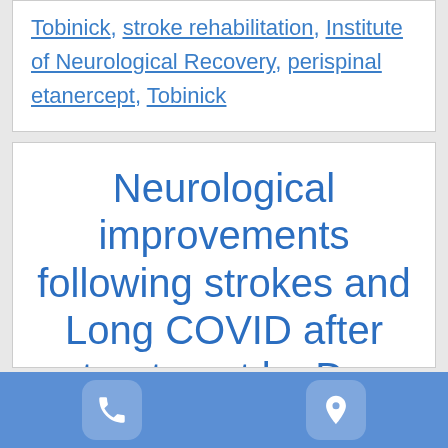Tobinick, stroke rehabilitation, Institute of Neurological Recovery, perispinal etanercept, Tobinick
Neurological improvements following strokes and Long COVID after treatment by Dr.
Phone icon | Location icon